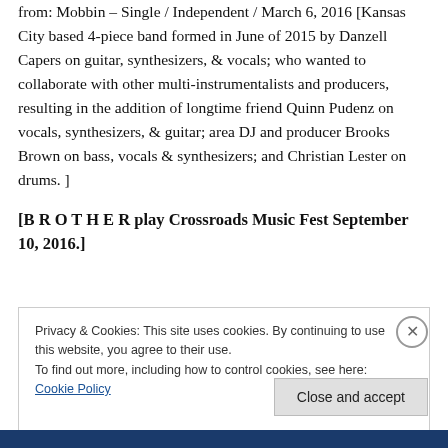from: Mobbin – Single / Independent / March 6, 2016 [Kansas City based 4-piece band formed in June of 2015 by Danzell Capers on guitar, synthesizers, & vocals; who wanted to collaborate with other multi-instrumentalists and producers, resulting in the addition of longtime friend Quinn Pudenz on vocals, synthesizers, & guitar; area DJ and producer Brooks Brown on bass, vocals & synthesizers; and Christian Lester on drums. ]
[B R O T H E R play Crossroads Music Fest September 10, 2016.]
Privacy & Cookies: This site uses cookies. By continuing to use this website, you agree to their use.
To find out more, including how to control cookies, see here: Cookie Policy